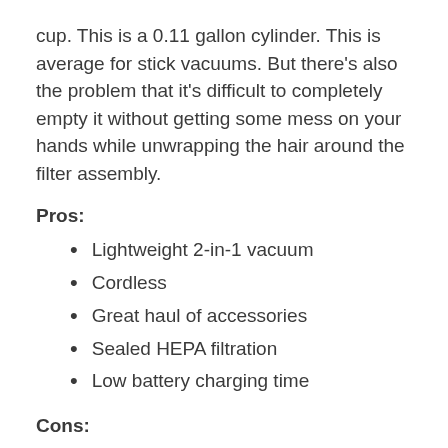cup. This is a 0.11 gallon cylinder. This is average for stick vacuums. But there’s also the problem that it’s difficult to completely empty it without getting some mess on your hands while unwrapping the hair around the filter assembly.
Pros:
Lightweight 2-in-1 vacuum
Cordless
Great haul of accessories
Sealed HEPA filtration
Low battery charging time
Cons: